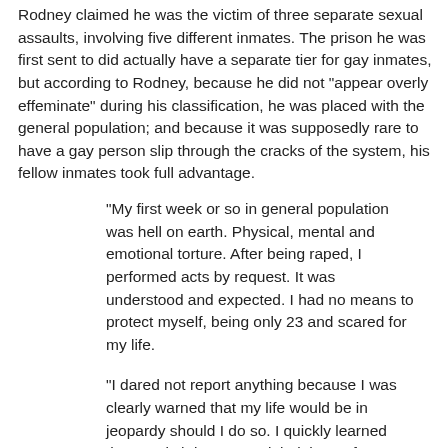Rodney claimed he was the victim of three separate sexual assaults, involving five different inmates. The prison he was first sent to did actually have a separate tier for gay inmates, but according to Rodney, because he did not "appear overly effeminate" during his classification, he was placed with the general population; and because it was supposedly rare to have a gay person slip through the cracks of the system, his fellow inmates took full advantage.
"My first week or so in general population was hell on earth. Physical, mental and emotional torture. After being raped, I performed acts by request. It was understood and expected. I had no means to protect myself, being only 23 and scared for my life.
"I dared not report anything because I was clearly warned that my life would be in jeopardy should I do so. I quickly learned that a snitch is a worse label than a fag.
"Against popular opinion, jail is not heaven for a